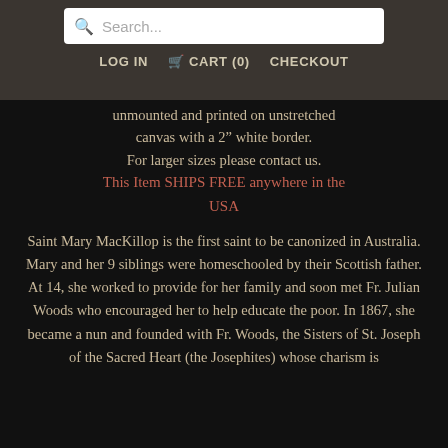LOG IN  CART (0)  CHECKOUT
unmounted and printed on unstretched canvas with a 2" white border.
For larger sizes please contact us.
This Item SHIPS FREE anywhere in the USA
Saint Mary MacKillop is the first saint to be canonized in Australia. Mary and her 9 siblings were homeschooled by their Scottish father. At 14, she worked to provide for her family and soon met Fr. Julian Woods who encouraged her to help educate the poor. In 1867, she became a nun and founded with Fr. Woods, the Sisters of St. Joseph of the Sacred Heart (the Josephites) whose charism is